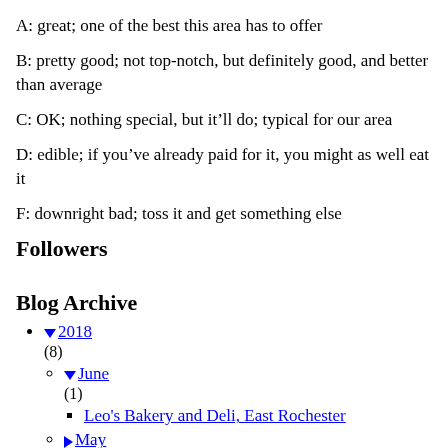A: great; one of the best this area has to offer
B: pretty good; not top-notch, but definitely good, and better than average
C: OK; nothing special, but it’ll do; typical for our area
D: edible; if you’ve already paid for it, you might as well eat it
F: downright bad; toss it and get something else
Followers
Blog Archive
▼ 2018 (8)
▼ June (1)
Leo’s Bakery and Deli, East Rochester
▶ May (2)
▶